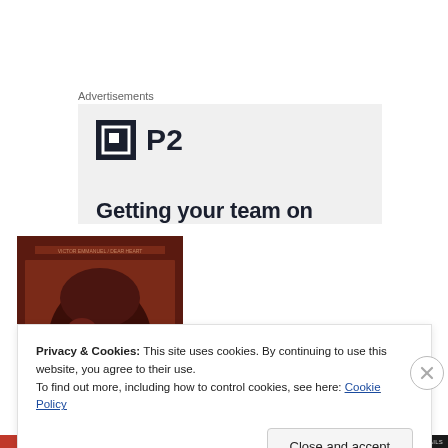Advertisements
[Figure (logo): P2 logo with square icon and bold P2 text, over light gray ad banner with partially visible tagline text]
[Figure (photo): Album cover art showing a close-up portrait of a person's face in dark reddish-brown tones, with small text at top]
Privacy & Cookies: This site uses cookies. By continuing to use this website, you agree to their use.
To find out more, including how to control cookies, see here: Cookie Policy
Close and accept